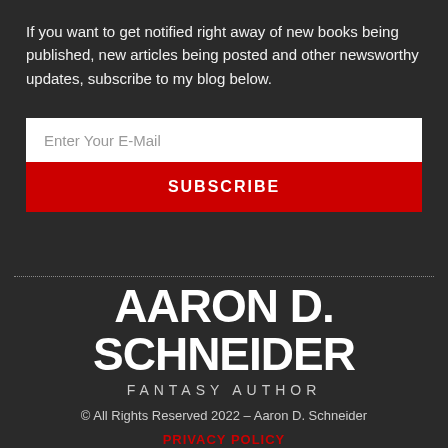If you want to get notified right away of new books being published, new articles being posted and other newsworthy updates, subscribe to my blog below.
[Figure (other): Email subscription form with white input box labeled 'Enter Your E-Mail' and a red SUBSCRIBE button below it]
AARON D. SCHNEIDER
FANTASY AUTHOR
© All Rights Reserved 2022 – Aaron D. Schneider
PRIVACY POLICY